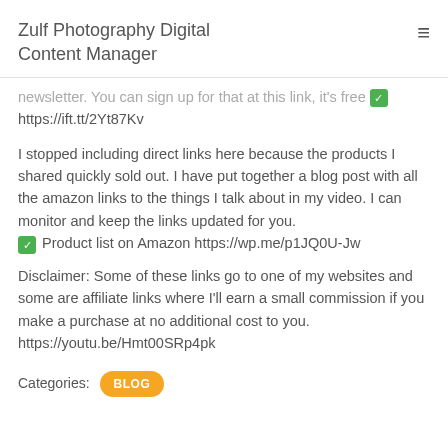Zulf Photography Digital Content Manager
newsletter. You can sign up for that at this link, it's free https://ift.tt/2Yt87Kv
I stopped including direct links here because the products I shared quickly sold out. I have put together a blog post with all the amazon links to the things I talk about in my video. I can monitor and keep the links updated for you. ✅ Product list on Amazon https://wp.me/p1JQ0U-Jw
Disclaimer: Some of these links go to one of my websites and some are affiliate links where I'll earn a small commission if you make a purchase at no additional cost to you. https://youtu.be/Hmt00SRp4pk
Categories: BLOG